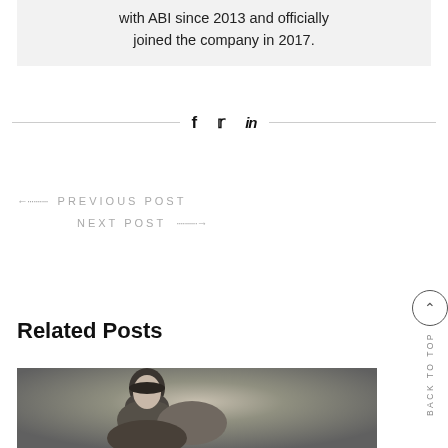with ABI since 2013 and officially joined the company in 2017.
[Figure (infographic): Social share bar with Facebook, Twitter, and LinkedIn icons between two horizontal lines]
← .......... PREVIOUS POST
NEXT POST .......... →
Related Posts
[Figure (photo): Black and white portrait photograph of a young person]
BACK TO TOP